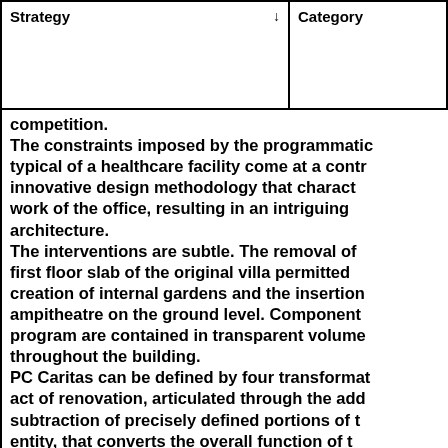| Strategy ↓ | Category / Imprint aResource / Architecture |
| --- | --- |
competition. The constraints imposed by the programmatic typical of a healthcare facility come at a contra innovative design methodology that characterize work of the office, resulting in an intriguing pie architecture. The interventions are subtle. The removal of p first floor slab of the original villa permitted bo creation of internal gardens and the insertion o ampitheatre on the ground level. Components o program are contained in transparent volumes throughout the building. PC Caritas can be defined by four transformation act of renovation, articulated through the addi subtraction of precisely defined portions of the entity, that converts the overall function of the That for architecture transforms the elemen